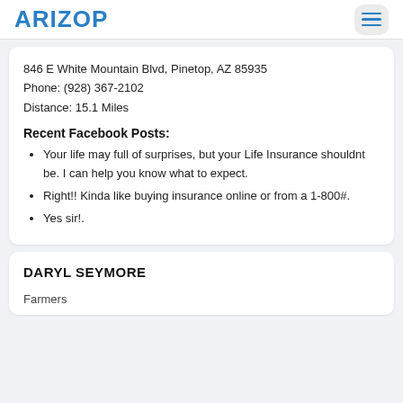ARIZOP
846 E White Mountain Blvd, Pinetop, AZ 85935
Phone: (928) 367-2102
Distance: 15.1 Miles
Recent Facebook Posts:
Your life may full of surprises, but your Life Insurance shouldnt be. I can help you know what to expect.
Right!! Kinda like buying insurance online or from a 1-800#.
Yes sir!.
DARYL SEYMORE
Farmers